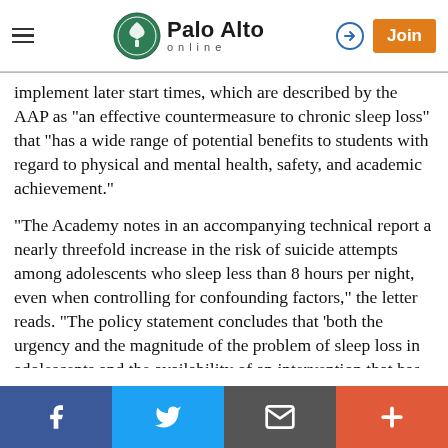Palo Alto Online
implement later start times, which are described by the AAP as "an effective countermeasure to chronic sleep loss" that "has a wide range of potential benefits to students with regard to physical and mental health, safety, and academic achievement."
"The Academy notes in an accompanying technical report a nearly threefold increase in the risk of suicide attempts among adolescents who sleep less than 8 hours per night, even when controlling for confounding factors," the letter reads. "The policy statement concludes that 'both the urgency and the magnitude of the problem of sleep loss in adolescents and the availability of an intervention that has the
Facebook | Twitter | Email | +